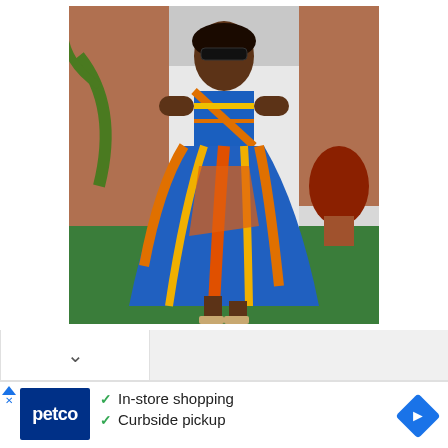[Figure (photo): A woman wearing a colorful African Ankara print two-piece outfit (crop top and midi skirt) in blue, orange, yellow, and green patterns, posing outdoors near a brick wall and green artificial grass, wearing sunglasses and heeled sandals.]
[Figure (screenshot): A Petco advertisement card showing the Petco logo and two checkmark bullet points: 'In-store shopping' and 'Curbside pickup', with a blue navigation arrow diamond icon on the right and an ad disclosure triangle/X on the left.]
In-store shopping
Curbside pickup